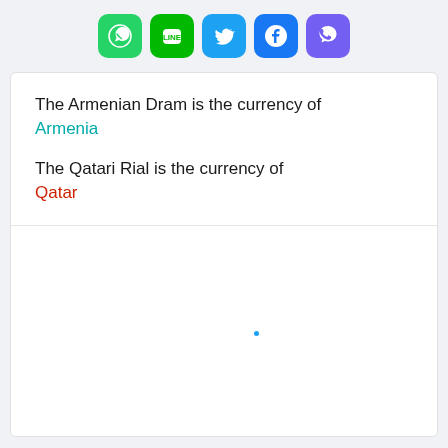[Figure (infographic): Row of five social media share buttons: WhatsApp (green), LINE (green), Twitter (blue), Facebook (blue), Viber (purple)]
The Armenian Dram is the currency of
Armenia
The Qatari Rial is the currency of
Qatar